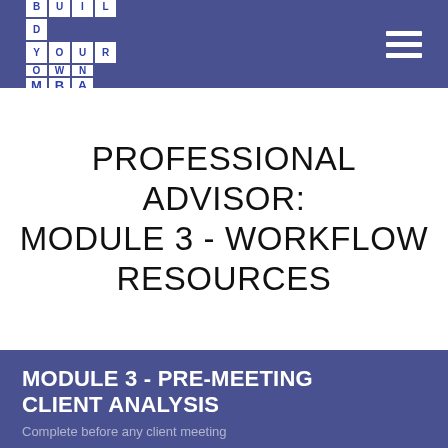[Figure (logo): Build Your Own MBA logo — grid of letter tiles spelling BUILD / YOUR OWN / MBA in blue on white, on a purple/navy header bar]
PROFESSIONAL ADVISOR: MODULE 3 - WORKFLOW RESOURCES
MODULE 3 - PRE-MEETING CLIENT ANALYSIS
Complete before any client meeting